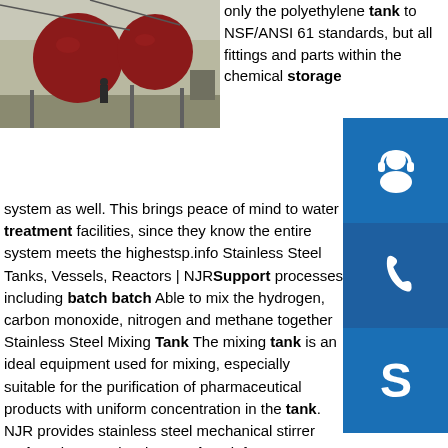[Figure (photo): Industrial outdoor scene with large red spherical tanks/vessels on a platform, with a worker and machinery visible in the background.]
only the polyethylene tank to NSF/ANSI 61 standards, but all fittings and parts within the chemical storage system as well. This brings peace of mind to water treatment facilities, since they know the entire system meets the highestsp.info Stainless Steel Tanks, Vessels, Reactors | NJRSupport processes including batch batch Able to mix the hydrogen, carbon monoxide, nitrogen and methane together Stainless Steel Mixing Tank The mixing tank is an ideal equipment used for mixing, especially suitable for the purification of pharmaceutical products with uniform concentration in the tank. NJR provides stainless steel mechanical stirrer tank and magnetic stirrer tank.sp.info ASME Pressure Vessels, Equipment Fabrication | Bendel Tank ...Exceptional quality, engineering, fabrication of Custom Tanks, Heat Exchangers, Reactors, ASME Pressure Vessels, more - for over 60 years. Learn more.. Call: (+1)